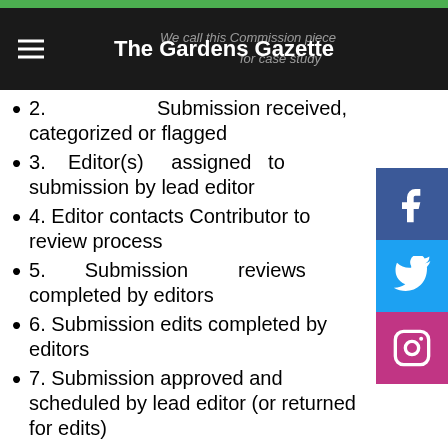The Gardens Gazette
2. Submission received, categorized or flagged
3. Editor(s) assigned to submission by lead editor
4. Editor contacts Contributor to review process
5. Submission reviews completed by editors
6. Submission edits completed by editors
7. Submission approved and scheduled by lead editor (or returned for edits)
8. Site administrator assists